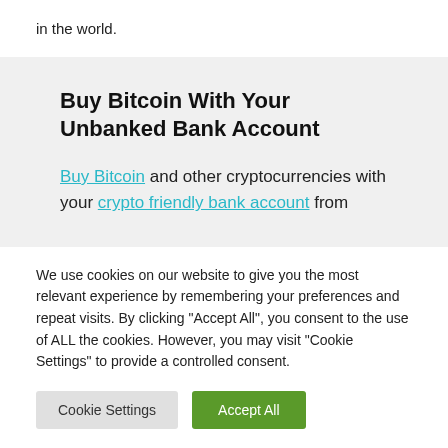in the world.
Buy Bitcoin With Your Unbanked Bank Account
Buy Bitcoin and other cryptocurrencies with your crypto friendly bank account from
We use cookies on our website to give you the most relevant experience by remembering your preferences and repeat visits. By clicking "Accept All", you consent to the use of ALL the cookies. However, you may visit "Cookie Settings" to provide a controlled consent.
Cookie Settings | Accept All